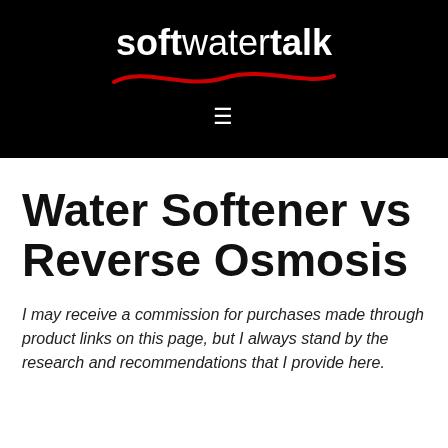softwatertalk
Water Softener vs Reverse Osmosis
I may receive a commission for purchases made through product links on this page, but I always stand by the research and recommendations that I provide here.